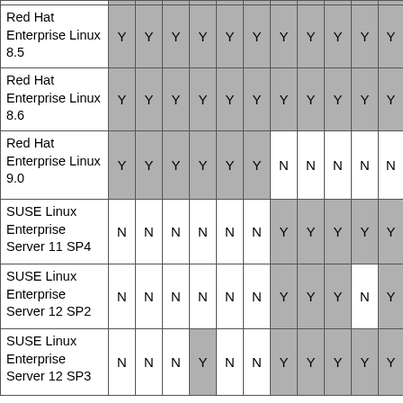| OS | 1 | 2 | 3 | 4 | 5 | 6 | 7 | 8 | 9 | 10 | 11 |
| --- | --- | --- | --- | --- | --- | --- | --- | --- | --- | --- | --- |
| Red Hat Enterprise Linux 8.5 | Y | Y | Y | Y | Y | Y | Y | Y | Y | Y | Y |
| Red Hat Enterprise Linux 8.6 | Y | Y | Y | Y | Y | Y | Y | Y | Y | Y | Y |
| Red Hat Enterprise Linux 9.0 | Y | Y | Y | Y | Y | Y | N | N | N | N | N |
| SUSE Linux Enterprise Server 11 SP4 | N | N | N | N | N | N | Y | Y | Y | Y | Y |
| SUSE Linux Enterprise Server 12 SP2 | N | N | N | N | N | N | Y | Y | Y | N | Y |
| SUSE Linux Enterprise Server 12 SP3 | N | N | N | Y | N | N | Y | Y | Y | Y | Y |